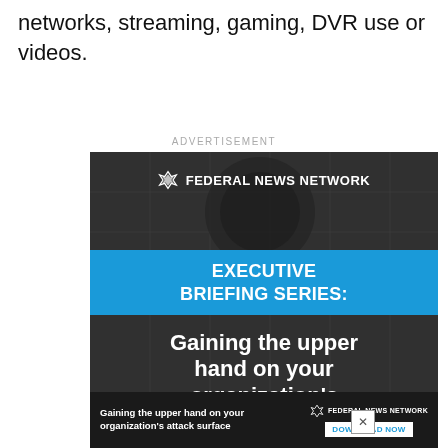networks, streaming, gaming, DVR use or videos.
ADVERTISEMENT
[Figure (illustration): Federal News Network advertisement banner. Dark circuit board background with 'FEDERAL NEWS NETWORK' logo at top, blue band reading 'EXECUTIVE BRIEFING SERIES:', and large white bold text 'Gaining the upper hand on your organization's'. Bottom sticky bar with 'Gaining the upper hand on your organization's attack surface', Federal News Network logo, and 'DOWNLOAD NOW' button.]